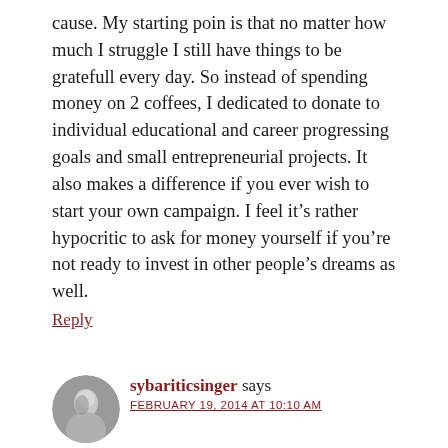cause. My starting poin is that no matter how much I struggle I still have things to be gratefull every day. So instead of spending money on 2 coffees, I dedicated to donate to individual educational and career progressing goals and small entrepreneurial projects. It also makes a difference if you ever wish to start your own campaign. I feel it’s rather hypocritic to ask for money yourself if you’re not ready to invest in other people’s dreams as well.
Reply
sybariticsinger says FEBRUARY 19, 2014 AT 10:10 AM
That’s great, Ksenija! I read this great quote the other day, “When you are